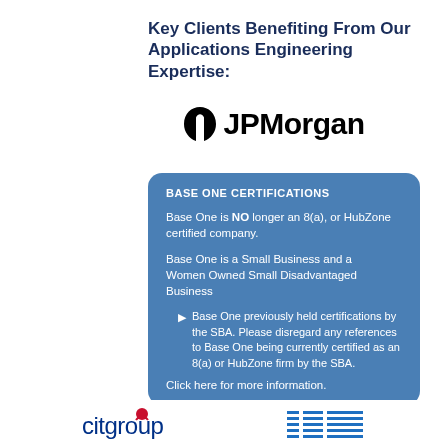Key Clients Benefiting From Our Applications Engineering Expertise:
[Figure (logo): JPMorgan logo with stylized JP icon and text 'JPMorgan']
BASE ONE CERTIFICATIONS

Base One is NO longer an 8(a), or HubZone certified company.

Base One is a Small Business and a Women Owned Small Disadvantaged Business
  • Base One previously held certifications by the SBA. Please disregard any references to Base One being currently certified as an 8(a) or HubZone firm by the SBA.
Click here for more information.
[Figure (logo): Citigroup and IBM logos at the bottom of the page]